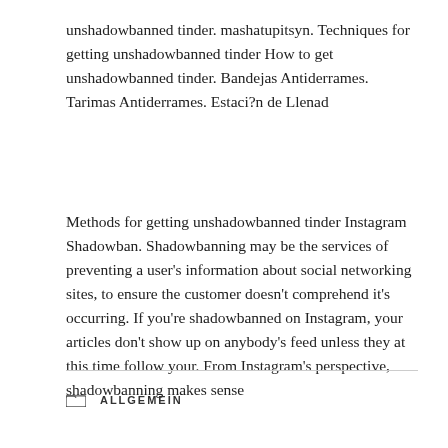unshadowbanned tinder. mashatupitsyn. Techniques for getting unshadowbanned tinder How to get unshadowbanned tinder. Bandejas Antiderrames. Tarimas Antiderrames. Estaci?n de Llenad
Methods for getting unshadowbanned tinder Instagram Shadowban. Shadowbanning may be the services of preventing a user's information about social networking sites, to ensure the customer doesn't comprehend it's occurring. If you're shadowbanned on Instagram, your articles don't show up on anybody's feed unless they at this time follow your. From Instagram's perspective, shadowbanning makes sense
ALLGEMEIN